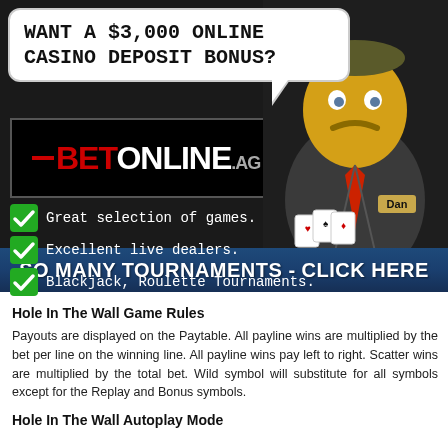[Figure (illustration): BetOnline.ag online casino advertisement banner featuring a cartoon casino dealer character, speech bubble saying 'WANT A $3,000 ONLINE CASINO DEPOSIT BONUS?', BetOnline.ag logo, checklist of features, and blue bottom bar reading 'SO MANY TOURNAMENTS - CLICK HERE']
Hole In The Wall Game Rules
Payouts are displayed on the Paytable. All payline wins are multiplied by the bet per line on the winning line. All payline wins pay left to right. Scatter wins are multiplied by the total bet. Wild symbol will substitute for all symbols except for the Replay and Bonus symbols.
Hole In The Wall Autoplay Mode